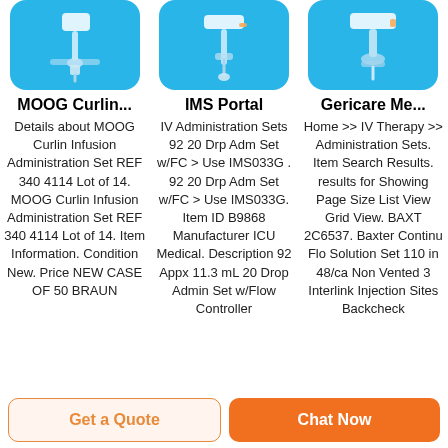[Figure (photo): Product image of MOOG Curlin infusion set on blue rounded background]
[Figure (photo): Product image of IMS Portal IV administration set on blue rounded background]
[Figure (photo): Product image of Gericare Medical item on blue rounded background]
MOOG Curlin...
Details about MOOG Curlin Infusion Administration Set REF 340 4114 Lot of 14. MOOG Curlin Infusion Administration Set REF 340 4114 Lot of 14. Item Information. Condition New. Price NEW CASE OF 50 BRAUN
IMS Portal
IV Administration Sets 92 20 Drp Adm Set w/FC > Use IMS033G . 92 20 Drp Adm Set w/FC > Use IMS033G. Item ID B9868 Manufacturer ICU Medical. Description 92 Appx 11.3 mL 20 Drop Admin Set w/Flow Controller
Gericare Me...
Home >> IV Therapy >> Administration Sets. Item Search Results. results for Showing Page Size List View Grid View. BAXT 2C6537. Baxter Continu Flo Solution Set 110 in 48/ca Non Vented 3 Interlink Injection Sites Backcheck
Get a Quote
Chat Now